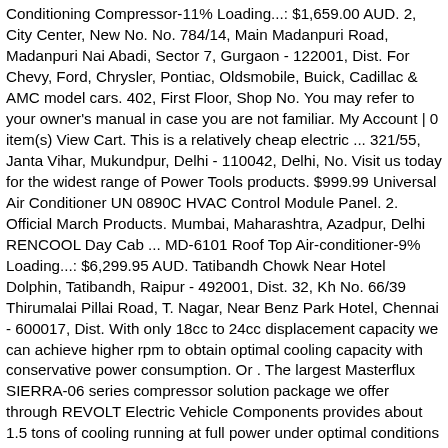Conditioning Compressor-11% Loading...: $1,659.00 AUD. 2, City Center, New No. No. 784/14, Main Madanpuri Road, Madanpuri Nai Abadi, Sector 7, Gurgaon - 122001, Dist. For Chevy, Ford, Chrysler, Pontiac, Oldsmobile, Buick, Cadillac & AMC model cars. 402, First Floor, Shop No. You may refer to your owner's manual in case you are not familiar. My Account | 0 item(s) View Cart. This is a relatively cheap electric ... 321/55, Janta Vihar, Mukundpur, Delhi - 110042, Delhi, No. Visit us today for the widest range of Power Tools products. $999.99 Universal Air Conditioner UN 0890C HVAC Control Module Panel. 2. Official March Products. Mumbai, Maharashtra, Azadpur, Delhi RENCOOL Day Cab ... MD-6101 Roof Top Air-conditioner-9% Loading...: $6,299.95 AUD. Tatibandh Chowk Near Hotel Dolphin, Tatibandh, Raipur - 492001, Dist. 32, Kh No. 66/39 Thirumalai Pillai Road, T. Nagar, Near Benz Park Hotel, Chennai - 600017, Dist. With only 18cc to 24cc displacement capacity we can achieve higher rpm to obtain optimal cooling capacity with conservative power consumption. Or . The largest Masterflux SIERRA-06 series compressor solution package we offer through REVOLT Electric Vehicle Components provides about 1.5 tons of cooling running at full power under optimal conditions and it draws up to two kW of power to do so. Ground Floor, House No. Get it by Thursday, Dec 24. Gurgaon, Haryana, UGF- 8, Unnao Arcade- 92/2005 Gautam Buddha Marg, Naka Hindola, Lucknow - 226018, Dist. Lucknow, Uttar Pradesh, Door No. FREE Shipping by Amazon. Hyderabad, Telangana, G-1, New Onkar Society, Bawdi Bakhedi Thana Marg, The...